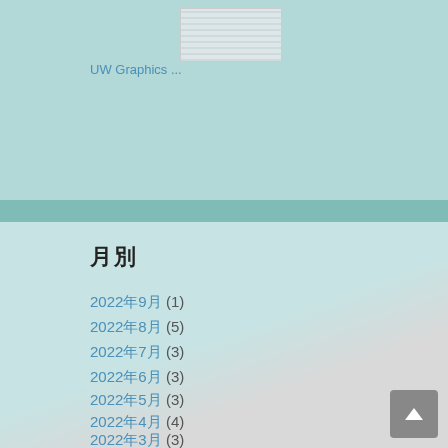[Figure (screenshot): Thumbnail image of a document or webpage preview]
UW Graphics ...
月別
2022年9月 (1)
2022年8月 (5)
2022年7月 (3)
2022年6月 (3)
2022年5月 (3)
2022年4月 (4)
2022年3月 (3)
2022年2月 (9)